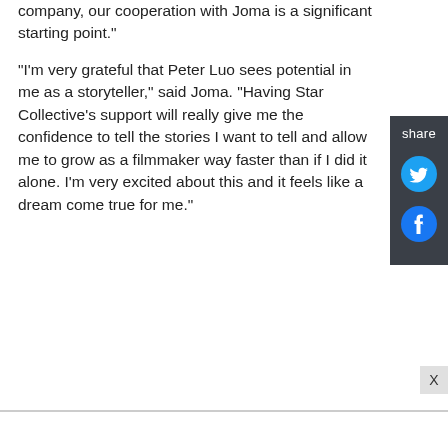company, our cooperation with Joma is a significant starting point."
"I'm very grateful that Peter Luo sees potential in me as a storyteller," said Joma. "Having Star Collective's support will really give me the confidence to tell the stories I want to tell and allow me to grow as a filmmaker way faster than if I did it alone. I'm very excited about this and it feels like a dream come true for me."